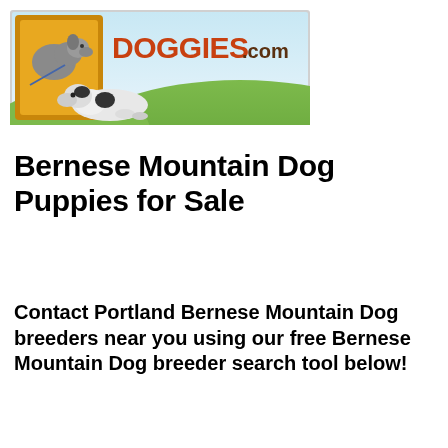[Figure (logo): Doggies.com logo banner showing a Labrador and a Great Dane puppy on a grassy background with the text DOGGIES.com in orange and brown]
Bernese Mountain Dog Puppies for Sale
Contact Portland Bernese Mountain Dog breeders near you using our free Bernese Mountain Dog breeder search tool below!